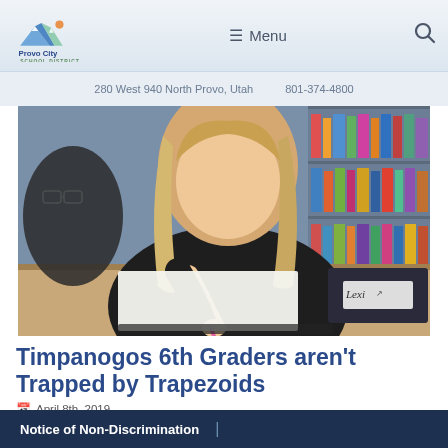Provo City School District — Menu | Search
280 West 940 North Provo, Utah   801-374-4800
[Figure (photo): A blonde girl in a dark hoodie writing with a pink pen at a library desk; another student with glasses visible in background; bookshelves with colorful books in background; a notebook labeled 'Lexi' on the desk.]
Timpanogos 6th Graders aren't Trapped by Trapezoids
April 8th, 2019
Notice of Non-Discrimination  |